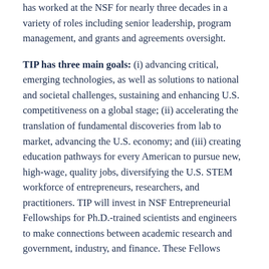has worked at the NSF for nearly three decades in a variety of roles including senior leadership, program management, and grants and agreements oversight.
TIP has three main goals: (i) advancing critical, emerging technologies, as well as solutions to national and societal challenges, sustaining and enhancing U.S. competitiveness on a global stage; (ii) accelerating the translation of fundamental discoveries from lab to market, advancing the U.S. economy; and (iii) creating education pathways for every American to pursue new, high-wage, quality jobs, diversifying the U.S. STEM workforce of entrepreneurs, researchers, and practitioners. TIP will invest in NSF Entrepreneurial Fellowships for Ph.D.-trained scientists and engineers to make connections between academic research and government, industry, and finance. These Fellows